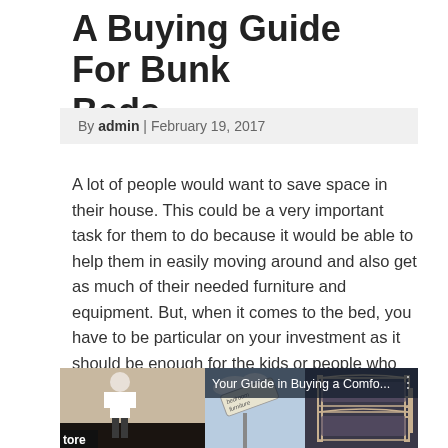A Buying Guide For Bunk Beds
By admin | February 19, 2017
A lot of people would want to save space in their house. This could be a very important task for them to do because it would be able to help them in easily moving around and also get as much of their needed furniture and equipment. But, when it comes to the bed, you have to be particular on your investment as it should be enough for the kids or people who are going to use it. There could be a number of options on the market and it could be ideal to consider the use of bunk beds.
[Figure (screenshot): Video thumbnail showing 'Your Guide in Buying a Comfo...' with images of a person, a bedroom furniture signpost, and a bunk bed, with three-dot menu icon.]